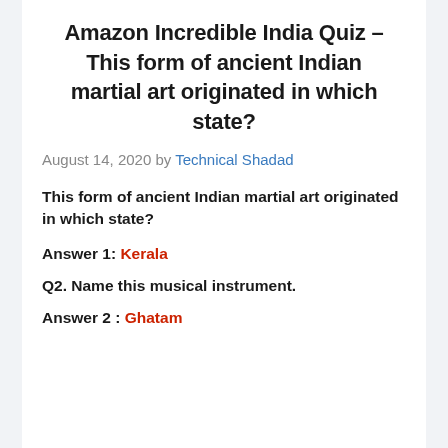Amazon Incredible India Quiz – This form of ancient Indian martial art originated in which state?
August 14, 2020 by Technical Shadad
This form of ancient Indian martial art originated in which state?
Answer 1: Kerala
Q2. Name this musical instrument.
Answer 2 : Ghatam